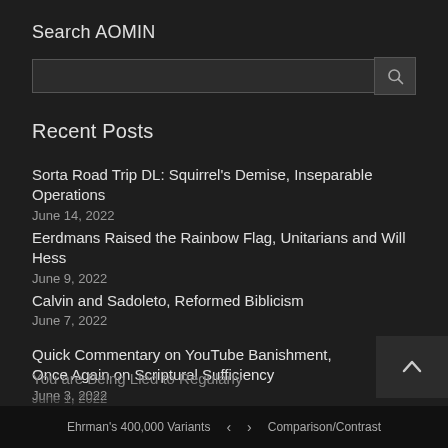Search AOMIN
Recent Posts
Sorta Road Trip DL: Squirrel's Demise, Inseparable Operations
June 14, 2022
Eerdmans Raised the Rainbow Flag, Unitarians and Will Hess
June 9, 2022
Calvin and Sadoleto, Reformed Biblicism
June 7, 2022
Quick Commentary on YouTube Banishment, Once Again on Scriptural Sufficiency
June 3, 2022
You are Being Lied to Regularly
June 1, 2022
Ehrman's 400,000 Variants   <   >   Comparison/Contrast